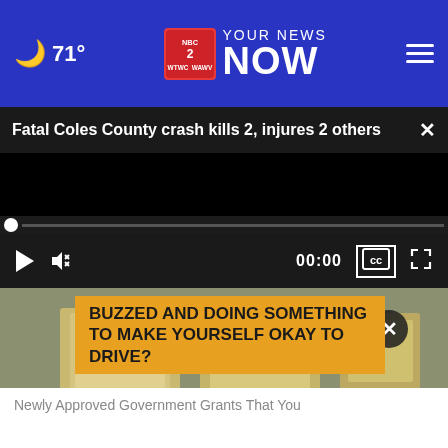71° YOUR NEWS NOW
Fatal Coles County crash kills 2, injures 2 others
[Figure (screenshot): Video player showing black screen with progress bar and controls: play button, mute button, 00:00 timestamp, CC button, fullscreen button]
[Figure (photo): Photo showing stacks of cash/money on a desk, partially visible]
BUZZED AND DOING SOMETHING TO MAKE YOURSELF OKAY TO DRIVE?
Newly Approved Government Grants That You